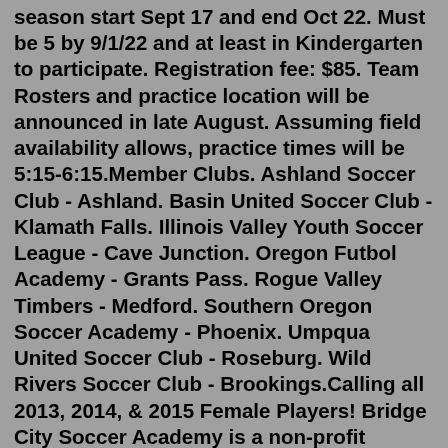season start Sept 17 and end Oct 22. Must be 5 by 9/1/22 and at least in Kindergarten to participate. Registration fee: $85. Team Rosters and practice location will be announced in late August. Assuming field availability allows, practice times will be 5:15-6:15.Member Clubs. Ashland Soccer Club - Ashland. Basin United Soccer Club - Klamath Falls. Illinois Valley Youth Soccer League - Cave Junction. Oregon Futbol Academy - Grants Pass. Rogue Valley Timbers - Medford. Southern Oregon Soccer Academy - Phoenix. Umpqua United Soccer Club - Roseburg. Wild Rivers Soccer Club - Brookings.Calling all 2013, 2014, & 2015 Female Players! Bridge City Soccer Academy is a non-profit organization dedicated to developing, preserving, or in some cases restoring the joy and passion for the game of soccer for young women. We strive to create an environment putting player and human development first. Our goal is to see players mature as ... Member Clubs. Ashland Soccer Club - Ashland. Basin United Soccer Club - Klamath Falls. Illinois Valley Youth Soccer League -